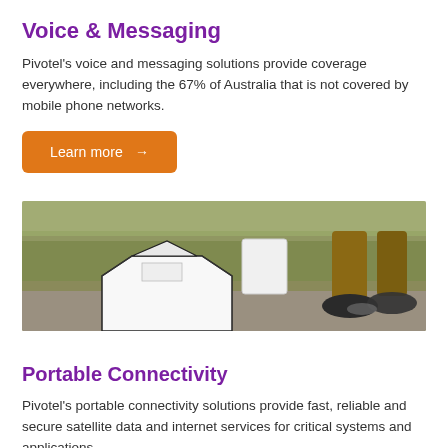Voice & Messaging
Pivotel's voice and messaging solutions provide coverage everywhere, including the 67% of Australia that is not covered by mobile phone networks.
Learn more →
[Figure (photo): Outdoor photo showing a white hexagonal satellite device on the ground with a person's legs/boots visible in the background on grassy/dirt terrain.]
Portable Connectivity
Pivotel's portable connectivity solutions provide fast, reliable and secure satellite data and internet services for critical systems and applications.